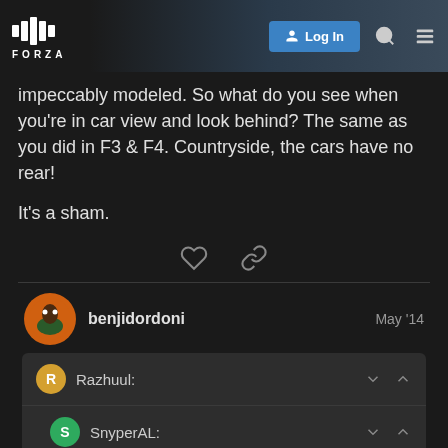FORZA — Log In
impeccably modeled. So what do you see when you're in car view and look behind? The same as you did in F3 & F4. Countryside, the cars have no rear!
It's a sham.
benjidordoni — May '14
Razhuul:
SnyperAL:
jaredo:
72 / 126